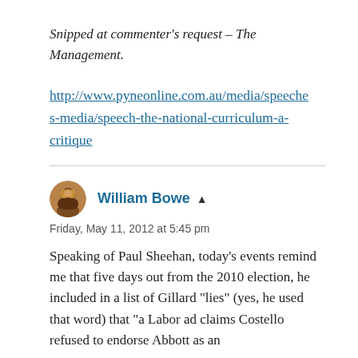Snipped at commenter's request – The Management.
http://www.pyneonline.com.au/media/speeches-media/speech-the-national-curriculum-a-critique
William Bowe
Friday, May 11, 2012 at 5:45 pm
Speaking of Paul Sheehan, today's events remind me that five days out from the 2010 election, he included in a list of Gillard “lies” (yes, he used that word) that “a Labor ad claims Costello refused to endorse Abbott as an